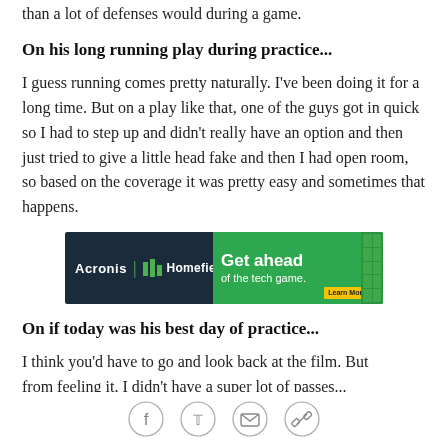than a lot of defenses would during a game.
On his long running play during practice...
I guess running comes pretty naturally. I've been doing it for a long time. But on a play like that, one of the guys got in quick so I had to step up and didn't really have an option and then just tried to give a little head fake and then I had open room, so based on the coverage it was pretty easy and sometimes that happens.
[Figure (other): Acronis Homefield advertisement banner: dark navy left side with Acronis and Homefield logos, green right side with text 'Get ahead of the tech game.' and a Learn More button]
On if today was his best day of practice...
I think you'd have to go and look back at the film. But from feeling it, I didn't have a super lot of passes...
[Figure (other): Social sharing icons row: Facebook, Twitter, Email, Link/chain]